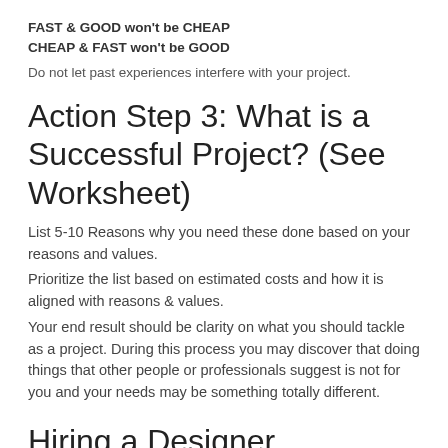FAST & GOOD won't be CHEAP
CHEAP & FAST won't be GOOD
Do not let past experiences interfere with your project.
Action Step 3: What is a Successful Project? (See Worksheet)
List 5-10 Reasons why you need these done based on your reasons and values.
Prioritize the list based on estimated costs and how it is aligned with reasons & values.
Your end result should be clarity on what you should tackle as a project. During this process you may discover that doing things that other people or professionals suggest is not for you and your needs may be something totally different.
Hiring a Designer